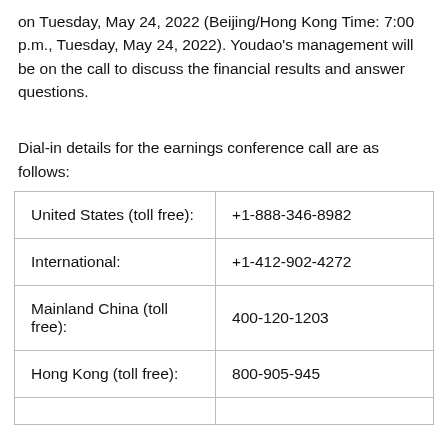on Tuesday, May 24, 2022 (Beijing/Hong Kong Time: 7:00 p.m., Tuesday, May 24, 2022). Youdao's management will be on the call to discuss the financial results and answer questions.
Dial-in details for the earnings conference call are as follows:
| United States (toll free): | +1-888-346-8982 |
| International: | +1-412-902-4272 |
| Mainland China (toll free): | 400-120-1203 |
| Hong Kong (toll free): | 800-905-945 |